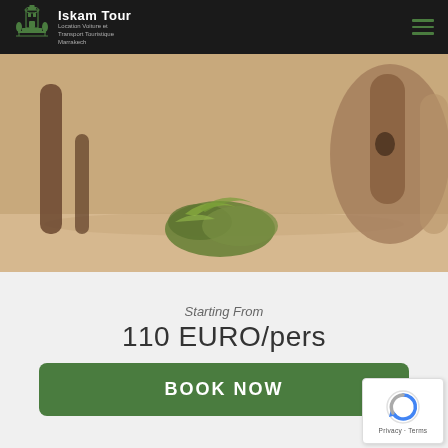Iskam Tour - Location Voiture et Transport Touristique Marrakech
[Figure (photo): Close-up blurred photo of camel legs and greenery (likely herbs/plants) on sandy ground, warm desert tones]
Starting From
110 EURO/pers
BOOK NOW